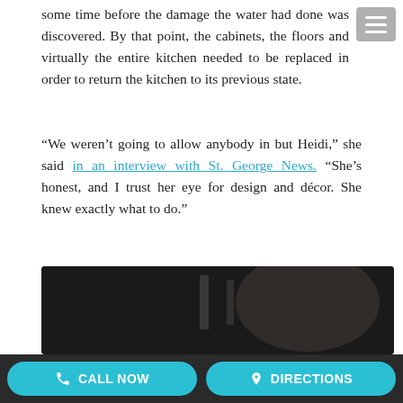some time before the damage the water had done was discovered. By that point, the cabinets, the floors and virtually the entire kitchen needed to be replaced in order to return the kitchen to its previous state.
“We weren’t going to allow anybody in but Heidi,” she said in an interview with St. George News. “She’s honest, and I trust her eye for design and décor. She knew exactly what to do.”
Knight had used Berlin’s Flooring Studio a year earlier on other renovations in her home and Knight was determined The Flooring Studio would be the general contractor on this new project.
[Figure (screenshot): Video thumbnail showing a woman with text 'Carolyn Knight Testimonial - Part 1' and a Flooring Studio logo]
CALL NOW
DIRECTIONS